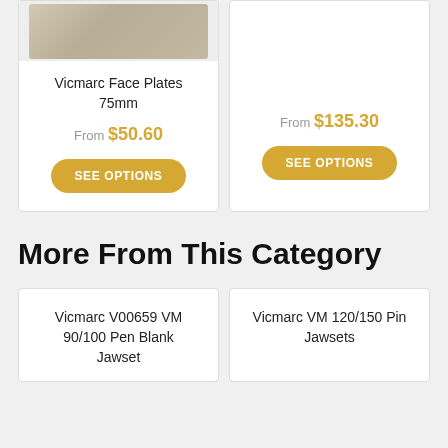[Figure (photo): Partial product card showing Vicmarc Face Plates 75mm with image at top, price From $50.60, and SEE OPTIONS button]
[Figure (photo): Partial product card (right) showing price From $135.30, and SEE OPTIONS button]
More From This Category
Vicmarc V00659 VM 90/100 Pen Blank Jawset
Vicmarc VM 120/150 Pin Jawsets